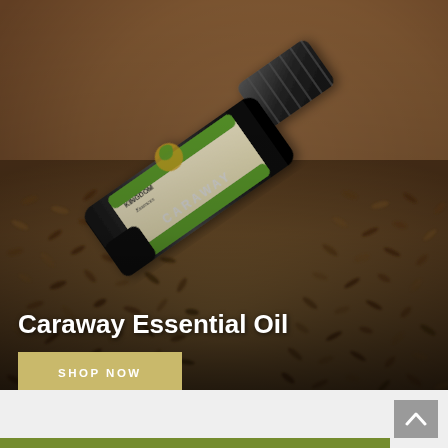[Figure (photo): A bottle of Kingdom Essences Caraway Essential Oil lying on its side on a bed of caraway seeds. The bottle has a black ribbed cap, a cream and green label with an illustrated chameleon logo, and 'CARAWAY' text on the label. Background shows scattered caraway seeds on a brown surface.]
Caraway Essential Oil
SHOP NOW